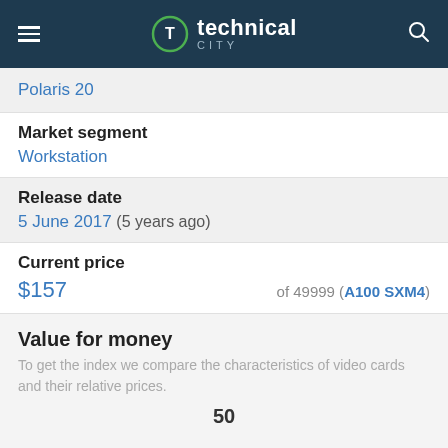technical city
Polaris 20
Market segment
Workstation
Release date
5 June 2017 (5 years ago)
Current price
$157 of 49999 (A100 SXM4)
Value for money
To get the index we compare the characteristics of video cards and their relative prices.
50